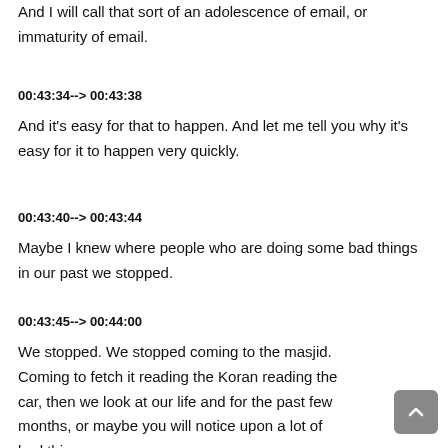And I will call that sort of an adolescence of email, or immaturity of email.
00:43:34--> 00:43:38
And it's easy for that to happen. And let me tell you why it's easy for it to happen very quickly.
00:43:40--> 00:43:44
Maybe I knew where people who are doing some bad things in our past we stopped.
00:43:45--> 00:44:00
We stopped. We stopped coming to the masjid. Coming to fetch it reading the Koran reading the car, then we look at our life and for the past few months, or maybe you will notice upon a lot of bad things